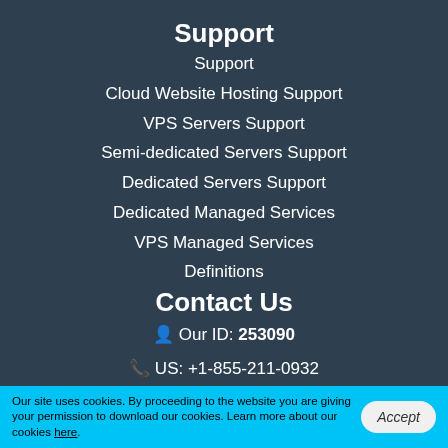Support
Support
Cloud Website Hosting Support
VPS Servers Support
Semi-dedicated Servers Support
Dedicated Servers Support
Dedicated Managed Services
VPS Managed Services
Definitions
Contact Us
Our ID: 253090
US: +1-855-211-0932
Our site uses cookies. By proceeding to the website you are giving your permission to download our cookies. Learn more about our cookies here.